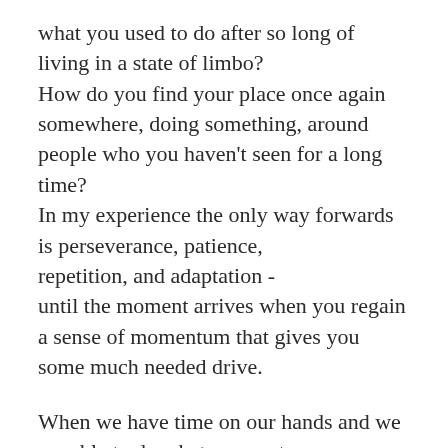what you used to do after so long of living in a state of limbo? How do you find your place once again somewhere, doing something, around people who you haven't seen for a long time? In my experience the only way forwards is perseverance, patience, repetition, and adaptation - until the moment arrives when you regain a sense of momentum that gives you some much needed drive.
When we have time on our hands and we are able to do what we want, with who we want, most people tend to not want to dwell upon